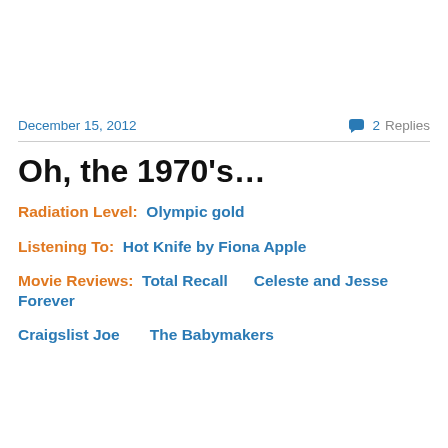December 15, 2012
💬 2 Replies
Oh, the 1970's…
Radiation Level:  Olympic gold
Listening To:  Hot Knife by Fiona Apple
Movie Reviews:  Total Recall      Celeste and Jesse Forever
Craigslist Joe      The Babymakers